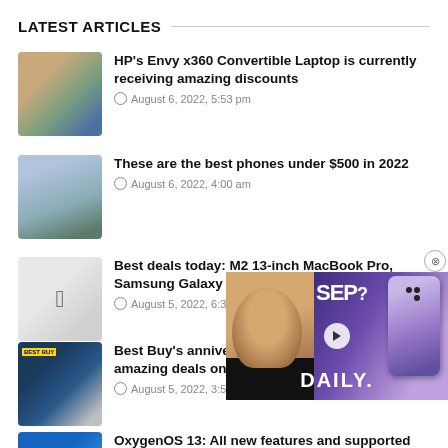LATEST ARTICLES
HP's Envy x360 Convertible Laptop is currently receiving amazing discounts
August 6, 2022, 5:53 pm
These are the best phones under $500 in 2022
August 6, 2022, 4:00 am
Best deals today: M2 13-inch MacBook Pro, Samsung Galaxy
August 5, 2022, 6:38 pm
Best Buy's anniversary sale is giving you amazing deals on its products
August 5, 2022, 3:56 pm
OxygenOS 13: All new features and supported devices
[Figure (screenshot): Video overlay with man's face, SEP?! text, phone image, and DAILY. text]